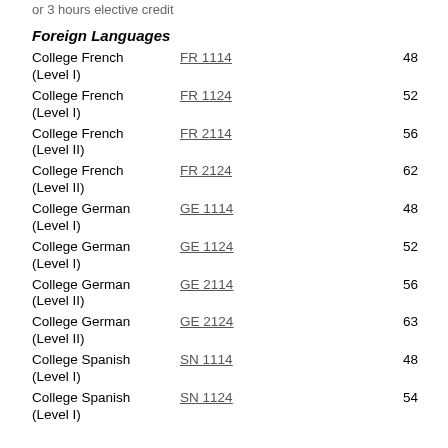or 3 hours elective credit
Foreign Languages
College French (Level I)  FR 1114  48
College French (Level I)  FR 1124  52
College French (Level II)  FR 2114  56
College French (Level II)  FR 2124  62
College German (Level I)  GE 1114  48
College German (Level I)  GE 1124  52
College German (Level II)  GE 2114  56
College German (Level II)  GE 2124  63
College Spanish (Level I)  SN 1114  48
College Spanish (Level I)  SN 1124  54